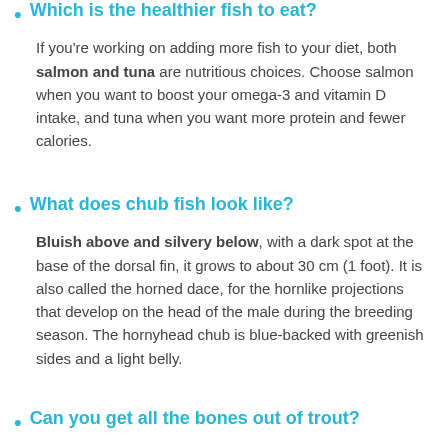Which is the healthier fish to eat?
If you're working on adding more fish to your diet, both salmon and tuna are nutritious choices. Choose salmon when you want to boost your omega-3 and vitamin D intake, and tuna when you want more protein and fewer calories.
What does chub fish look like?
Bluish above and silvery below, with a dark spot at the base of the dorsal fin, it grows to about 30 cm (1 foot). It is also called the horned dace, for the hornlike projections that develop on the head of the male during the breeding season. The hornyhead chub is blue-backed with greenish sides and a light belly.
Can you get all the bones out of trout?